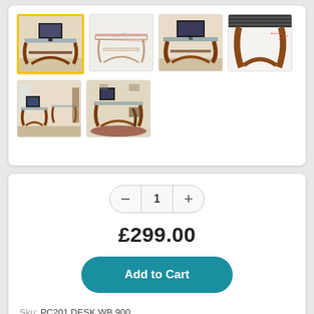[Figure (photo): Product image gallery showing a wooden computer desk with glass top in 6 thumbnail views: main view with monitor, wireframe view, side view, close-up of leg detail, room view with two chairs, and room view with chair and rug. First thumbnail has yellow active border.]
1
£299.00
Add to Cart
Sku: PC201 DESK WB 900
Vendor: Jual Furnishings